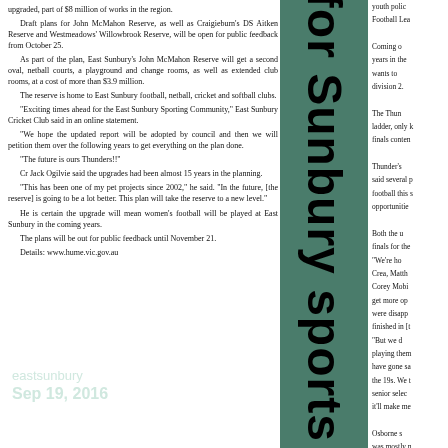upgraded, part of $8 million of works in the region.

Draft plans for John McMahon Reserve, as well as Craigieburn's DS Aitken Reserve and Westmeadows' Willowbrook Reserve, will be open for public feedback from October 25.

As part of the plan, East Sunbury's John McMahon Reserve will get a second oval, netball courts, a playground and change rooms, as well as extended club rooms, at a cost of more than $3.9 million.

The reserve is home to East Sunbury football, netball, cricket and softball clubs.

"Exciting times ahead for the East Sunbury Sporting Community," East Sunbury Cricket Club said in an online statement.

"We hope the updated report will be adopted by council and then we will petition them over the following years to get everything on the plan done.

"The future is ours Thunders!!"

Cr Jack Ogilvie said the upgrades had been almost 15 years in the planning.

"This has been one of my pet projects since 2002," he said. "In the future, [the reserve] is going to be a lot better. This plan will take the reserve to a new level."

He is certain the upgrade will mean women's football will be played at East Sunbury in the coming years.

The plans will be out for public feedback until November 21.

Details: www.hume.vic.gov.au
[Figure (other): Rotated vertical headline text reading 'ds for Sunbury sports joy' in bold black on green background strip]
youth polic Football Lea Coming o years in the wants to division 2. The Thun ladder, only k finals conten Thunder's said several p football this s opportunitie Both the u finals for the "We're ho Crea, Matth Corey Mobi get more op were disapp finished in [t "But we d playing them have gone sa the 19s. We t senior selec it'll make me Osborne s was mostly n Kamen Ogil finished run 2 best and f
eastsunbury
Sep 19, 2016